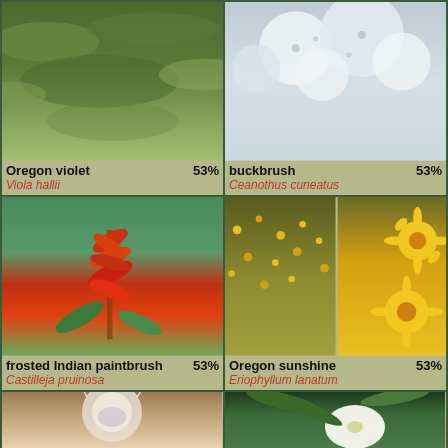[Figure (photo): Oregon violet plant with silver-green foliage]
Oregon violet 53%
Viola hallii
[Figure (photo): Buckbrush with white fluffy flower clusters]
buckbrush 53%
Ceanothus cuneatus
[Figure (photo): Frosted Indian paintbrush with red-orange spiky bracts]
frosted Indian paintbrush 53%
Castilleja pruinosa
[Figure (photo): Oregon sunshine with yellow daisy-like flowers and shrubs]
Oregon sunshine 53%
Eriophyllum lanatum
[Figure (photo): Tolmiea with fuzzy white-lavender flower, mariposa lily style]
Tolmiea... 53%
[Figure (photo): California lady's slipper orchid with white bloom and green leaves]
California lady's slipper... 53%